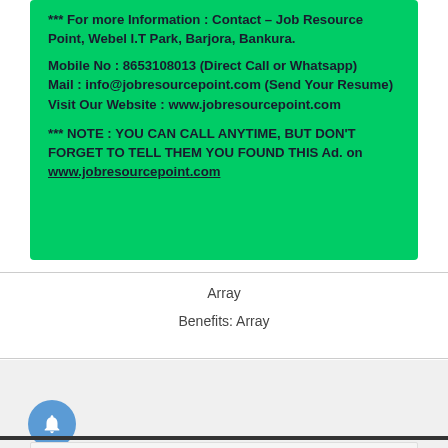*** For more Information : Contact – Job Resource Point, Webel I.T Park, Barjora, Bankura.

Mobile No : 8653108013 (Direct Call or Whatsapp)
Mail : info@jobresourcepoint.com (Send Your Resume)
Visit Our Website : www.jobresourcepoint.com

*** NOTE : YOU CAN CALL ANYTIME, BUT DON'T FORGET TO TELL THEM YOU FOUND THIS Ad. on www.jobresourcepoint.com
Array
Benefits: Array